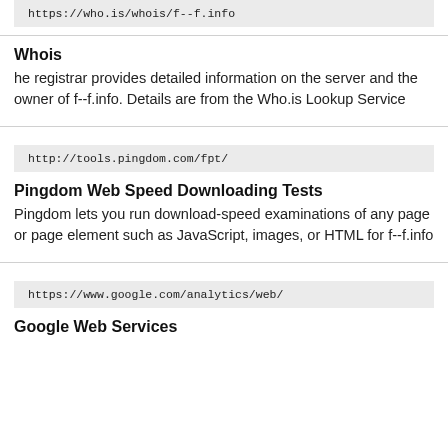https://who.is/whois/f--f.info
Whois
he registrar provides detailed information on the server and the owner of f--f.info. Details are from the Who.is Lookup Service
http://tools.pingdom.com/fpt/
Pingdom Web Speed Downloading Tests
Pingdom lets you run download-speed examinations of any page or page element such as JavaScript, images, or HTML for f--f.info
https://www.google.com/analytics/web/
Google Web Services